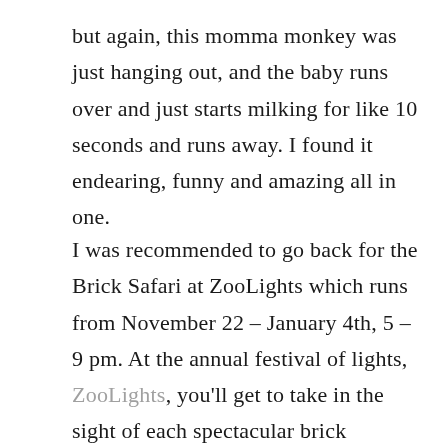but again, this momma monkey was just hanging out, and the baby runs over and just starts milking for like 10 seconds and runs away. I found it endearing, funny and amazing all in one.
I was recommended to go back for the Brick Safari at ZooLights which runs from November 22 – January 4th, 5 – 9 pm. At the annual festival of lights, ZooLights, you'll get to take in the sight of each spectacular brick sculptures lit by thousands of twinkling lights. You can also visit Santa's Castle to get an exclusive peek at sculptures only seen at